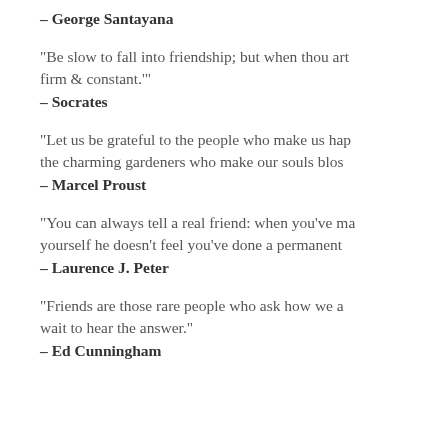– George Santayana
"Be slow to fall into friendship; but when thou art in it, continue firm & constant."
– Socrates
"Let us be grateful to the people who make us happy; they are the charming gardeners who make our souls blossom."
– Marcel Proust
"You can always tell a real friend: when you've made a fool of yourself he doesn't feel you've done a permanent job."
– Laurence J. Peter
"Friends are those rare people who ask how we are and then wait to hear the answer."
– Ed Cunningham